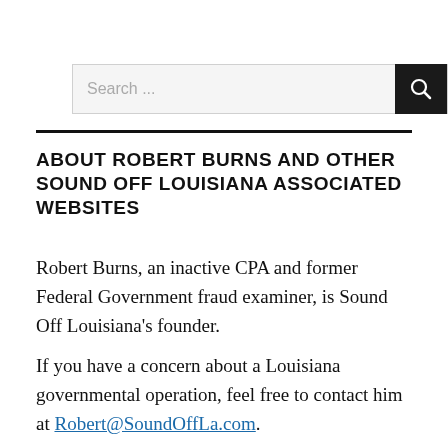[Figure (screenshot): Search input field with dark background search icon button on the right. Text reads 'Search ...']
ABOUT ROBERT BURNS AND OTHER SOUND OFF LOUISIANA ASSOCIATED WEBSITES
Robert Burns, an inactive CPA and former Federal Government fraud examiner, is Sound Off Louisiana’s founder.
If you have a concern about a Louisiana governmental operation, feel free to contact him at Robert@SoundOffLa.com.